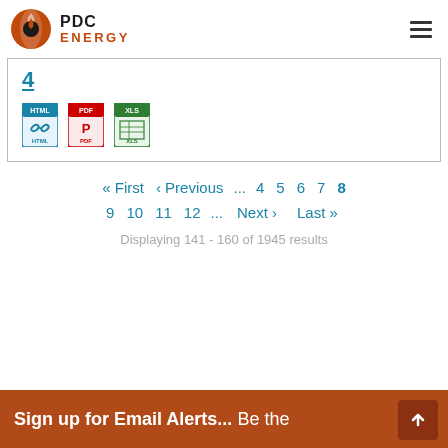PDC ENERGY
4
[Figure (screenshot): Three file format icons: HTML (blue chain link icon), PDF (red PDF icon), XLS (green spreadsheet icon)]
« First  ‹ Previous  ...  4  5  6  7  8  9  10  11  12  ...  Next ›  Last »
Displaying 141 - 160 of 1945 results
Sign up for Email Alerts... Be the